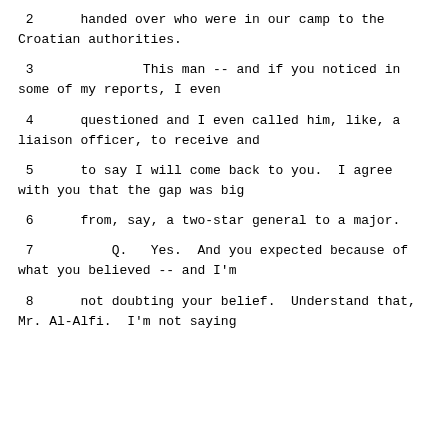2      handed over who were in our camp to the Croatian authorities.
3              This man -- and if you noticed in some of my reports, I even
4      questioned and I even called him, like, a liaison officer, to receive and
5      to say I will come back to you.  I agree with you that the gap was big
6      from, say, a two-star general to a major.
7          Q.   Yes.  And you expected because of what you believed -- and I'm
8      not doubting your belief.  Understand that, Mr. Al-Alfi.  I'm not saying